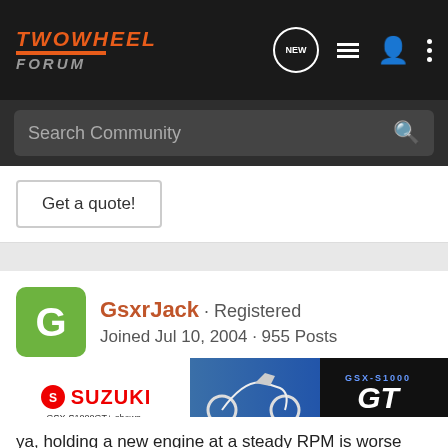TWOWHEEL FORUM
Search Community
Get a quote!
GsxrJack · Registered
Joined Jul 10, 2004 · 955 Posts
#5 · Feb 5, 2005
ya, holding a new engine at a steady RPM is worse than running it up to high rpms once in a while...steady RPMs is the worse thing u can do to a new engine wether it be a bike, car or jet engine...just take it easy for a bit, running it up and down the gears a
[Figure (advertisement): Suzuki GSX-S1000GT advertisement banner with motorcycle image]